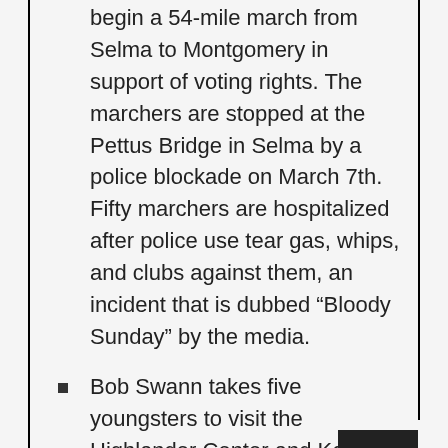begin a 54-mile march from Selma to Montgomery in support of voting rights. The marchers are stopped at the Pettus Bridge in Selma by a police blockade on March 7th. Fifty marchers are hospitalized after police use tear gas, whips, and clubs against them, an incident that is dubbed “Bloody Sunday” by the media.
Bob Swann takes five youngsters to visit the Highlander Center and Koinonia Farm.